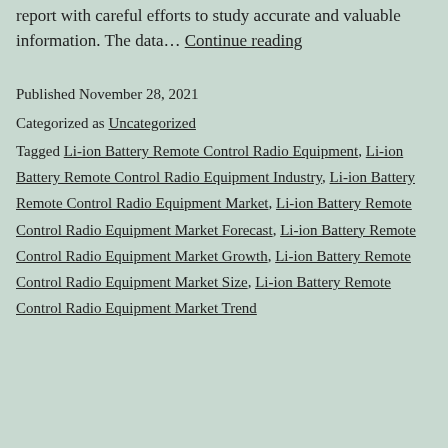report with careful efforts to study accurate and valuable information. The data… Continue reading
Published November 28, 2021
Categorized as Uncategorized
Tagged Li-ion Battery Remote Control Radio Equipment, Li-ion Battery Remote Control Radio Equipment Industry, Li-ion Battery Remote Control Radio Equipment Market, Li-ion Battery Remote Control Radio Equipment Market Forecast, Li-ion Battery Remote Control Radio Equipment Market Growth, Li-ion Battery Remote Control Radio Equipment Market Size, Li-ion Battery Remote Control Radio Equipment Market Trend